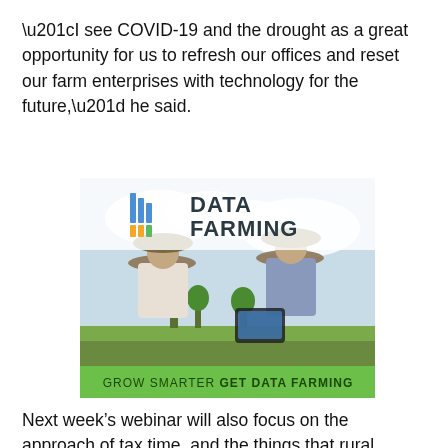“I see COVID-19 and the drought as a great opportunity for us to refresh our offices and reset our farm enterprises with technology for the future,” he said.
[Figure (photo): Data Farming advertisement showing two farmers in wide-brimmed hats looking at a tablet, with the Data Farming logo at top and a green banner reading GROW SMARTER GET DATA FARMING at the bottom.]
Next week’s webinar will also focus on the approach of tax time, and the things that rural